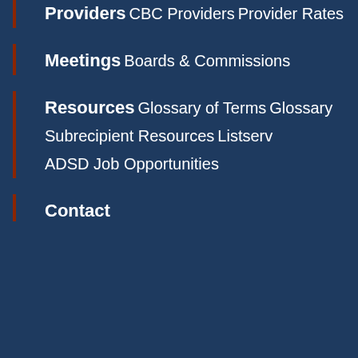Providers
CBC Providers
Provider Rates
Meetings
Boards & Commissions
Resources
Glossary of Terms
Glossary
Subrecipient Resources
Listserv
ADSD Job Opportunities
Contact